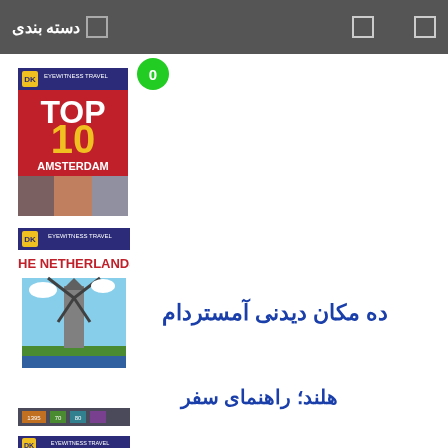دسته بندی
[Figure (illustration): DK Eyewitness Travel Top 10 Amsterdam book cover — red and blue design with TOP 10 text and AMSTERDAM text]
ده مکان دیدنی آمستردام
[Figure (illustration): DK Eyewitness Travel The Netherlands book cover — windmill in green field with blue sky]
هلند؛ راهنمای سفر
[Figure (illustration): DK Eyewitness Travel The Netherlands book cover — partial view at bottom]